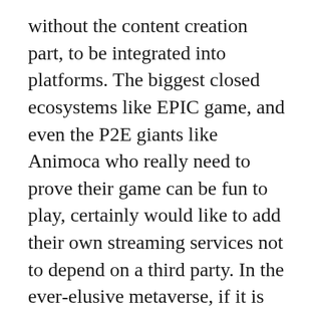without the content creation part, to be integrated into platforms. The biggest closed ecosystems like EPIC game, and even the P2E giants like Animoca who really need to prove their game can be fun to play, certainly would like to add their own streaming services not to depend on a third party. In the ever-elusive metaverse, if it is indeed a continuum of unreal engine-powered social videogames, then those games would need their own entertainment DAO (which could go at this stage beyond streaming). Some competiting apps based on videogame content, such as Powdr.gg, could be natural clients.